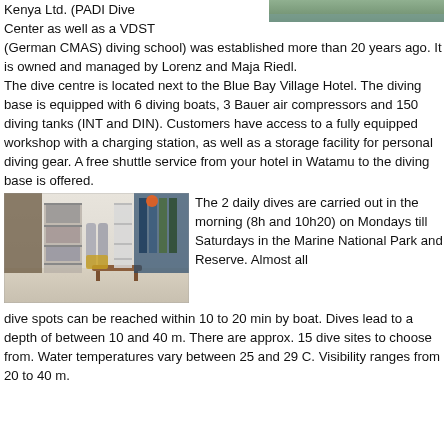Kenya Ltd. (PADI Dive Center as well as a VDST (German CMAS) diving school) was established more than 20 years ago. It is owned and managed by Lorenz and Maja Riedl. The dive centre is located next to the Blue Bay Village Hotel. The diving base is equipped with 6 diving boats, 3 Bauer air compressors and 150 diving tanks (INT and DIN). Customers have access to a fully equipped workshop with a charging station, as well as a storage facility for personal diving gear. A free shuttle service from your hotel in Watamu to the diving base is offered.
[Figure (photo): Photo of a dive equipment shop interior showing wetsuits on racks, tanks, shelving with gear, and a wooden bench in the center.]
The 2 daily dives are carried out in the morning (8h and 10h20) on Mondays till Saturdays in the Marine National Park and Reserve. Almost all dive spots can be reached within 10 to 20 min by boat. Dives lead to a depth of between 10 and 40 m. There are approx. 15 dive sites to choose from. Water temperatures vary between 25 and 29 C. Visibility ranges from 20 to 40 m.